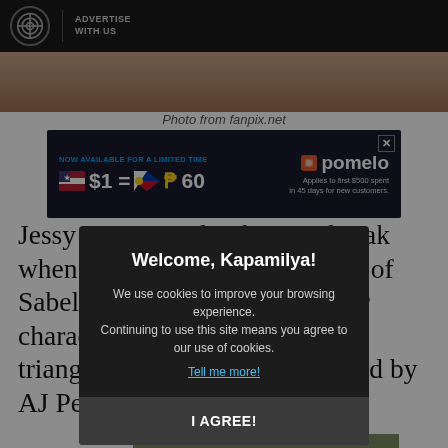ADVERTISE WITH US
[Figure (photo): Top portion of a person's photo, cropped]
Photo from fanpix.net
[Figure (infographic): Advertisement banner: NOW AVAILABLE FOR A LIMITED TIME $1 = P60 pomelo. Applies to first $500 spent in 45 days for new customers.]
Jessy was given her biggest break when she accepted the title role of Sabel which ended in 2011. Her character was caught in a love triangle with two brothers played by AJ Perez and J
[Figure (photo): Partially visible photo at the bottom of the page]
Welcome, Kapamilya!
We use cookies to improve your browsing experience. Continuing to use this site means you agree to our use of cookies.
Tell me more!
I AGREE!